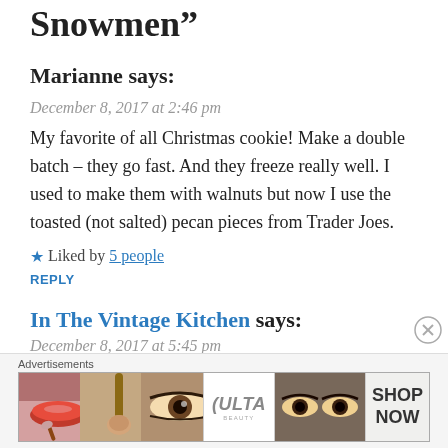Snowmen”
Marianne says:
December 8, 2017 at 2:46 pm
My favorite of all Christmas cookie! Make a double batch – they go fast. And they freeze really well. I used to make them with walnuts but now I use the toasted (not salted) pecan pieces from Trader Joes.
★ Liked by 5 people
REPLY
In The Vintage Kitchen says:
December 8, 2017 at 5:45 pm
Great suggestion on doubling the batch and freezing them!
[Figure (other): Advertisement banner with ULTA beauty ad showing makeup images and SHOP NOW text]